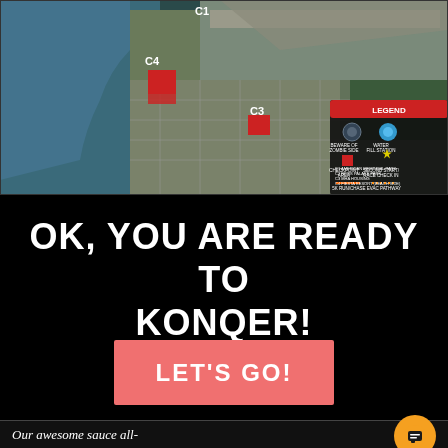[Figure (map): Aerial/satellite map of a coastal area showing checkpoints C1, C2, C3, C4 with a legend indicating Beware of Zombie Side, Water Fill Station, Checkpoint Area, Second Start/Race Check In, 5K Run/Chase, Evac Pathway. C1: American Memorial Park, C2: NCOS Palace Park, C3: MHA Housing, C4: Fiesta Resort (Beach Side).]
OK, YOU ARE READY TO KONQER!
LET'S GO!
Our awesome sauce all-